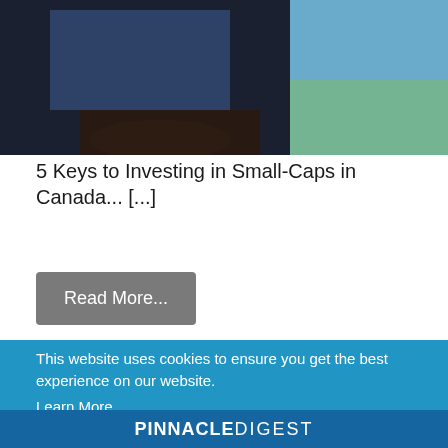[Figure (photo): Partial photo of a person sitting, cropped at the bottom portion, with a landscape/field visible in the background. Dark tones.]
5 Keys to Investing in Small-Caps in Canada... [...]
Read More...
This website uses cookies to ensure you get the best experience on our website.
Learn More
Accept
PINNACLE DIGEST